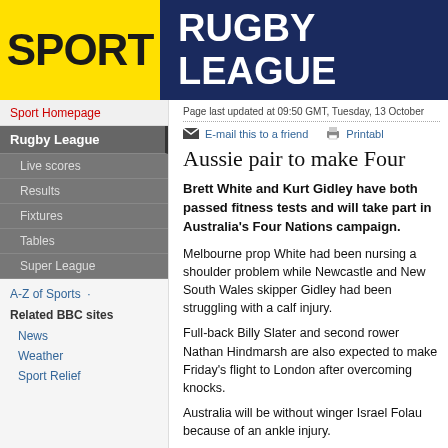SPORT | RUGBY LEAGUE
Sport Homepage
Rugby League
Live scores
Results
Fixtures
Tables
Super League
A-Z of Sports
Related BBC sites
News
Weather
Sport Relief
Page last updated at 09:50 GMT, Tuesday, 13 October
E-mail this to a friend   Printabl
Aussie pair to make Four Nations
Brett White and Kurt Gidley have both passed fitness tests and will take part in Australia's Four Nations campaign.
Melbourne prop White had been nursing a shoulder problem while Newcastle and New South Wales skipper Gidley had been struggling with a calf injury.
Full-back Billy Slater and second rower Nathan Hindmarsh are also expected to make Friday's flight to London after overcoming knocks.
Australia will be without winger Israel Folau because of an ankle injury.